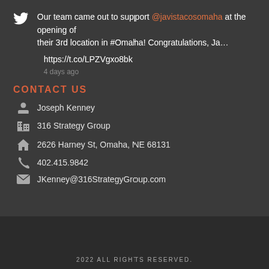Our team came out to support @javistacosomaha at the opening of their 3rd location in #Omaha! Congratulations, Ja…
https://t.co/LPZVgxo8bk
4 days ago
CONTACT US
Joseph Kenney
316 Strategy Group
2626 Harney St, Omaha, NE 68131
402.415.9842
JKenney@316StrategyGroup.com
2022 ALL RIGHTS RESERVED.